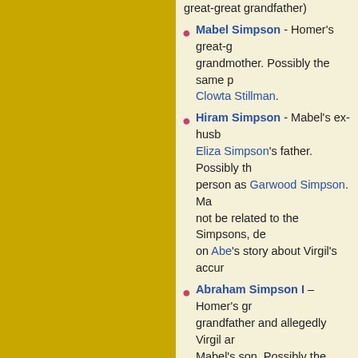great-great grandfather)
Mabel Simpson - Homer's great-grandmother. Possibly the same person as Clowta Stillman.
Hiram Simpson - Mabel's ex-husband, Eliza Simpson's father. Possibly the same person as Garwood Simpson. May not be related to the Simpsons, depending on Abe's story about Virgil's accuracy.
Abraham Simpson I – Homer's grandfather and allegedly Virgil and Mabel's son. Possibly the same person as Howland Simpson.
Eliza Simpson – Hiram Simpson's daughter, Milford Van Houten's wife, Milhouse Van Houten's great-great-great-great-grandmother.
Bart-Beard the Pirate – Distant ancestor of the Simpsons. May or may not be related to the Simpsons, depending on the accuracy of Abe's story about Virgil.
Prison snitch relative.